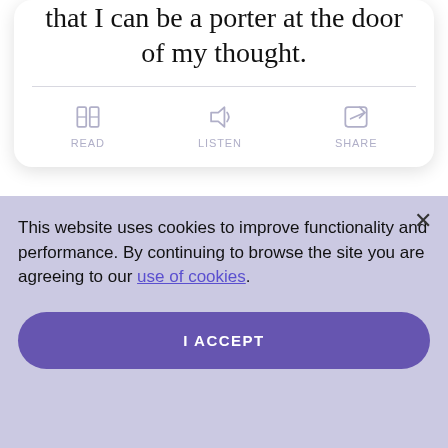that I can be a porter at the door of my thought.
[Figure (infographic): Three action buttons: READ (book icon), LISTEN (speaker icon), SHARE (share icon), displayed in a row with light purple/gray color]
This website uses cookies to improve functionality and performance. By continuing to browse the site you are agreeing to our use of cookies.
I ACCEPT